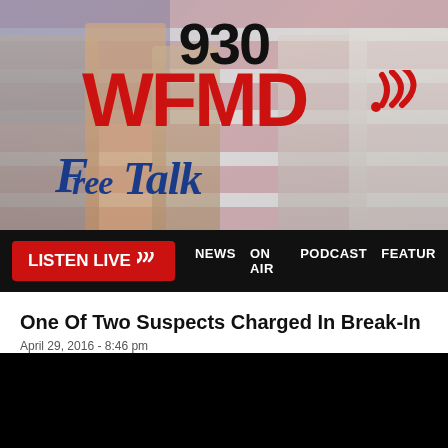[Figure (logo): 930 WFMD Free Talk radio station banner with group photo of hosts against American flag background, red WFMD logo text, signal waves icon, and blue italic Free Talk script text]
[Figure (screenshot): Navigation bar with red LISTEN LIVE button with signal waves icon, and white text nav links: NEWS, ON AIR, PODCAST, FEATUR (truncated)]
One Of Two Suspects Charged In Break-In
April 29, 2016 - 8:46 pm
Police are searching for the other suspect.